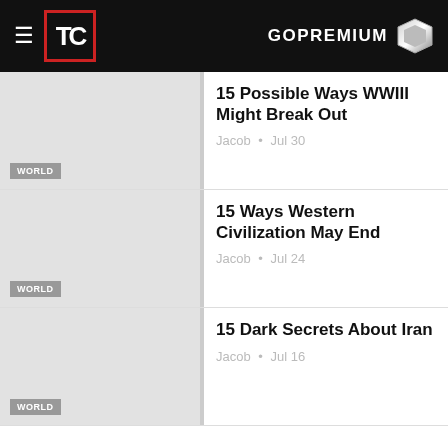TopTenz GOPREMIUM
15 Possible Ways WWIII Might Break Out
Jacob • Jul 30
WORLD
15 Ways Western Civilization May End
Jacob • Jul 24
WORLD
15 Dark Secrets About Iran
Jacob • Jul 16
WORLD